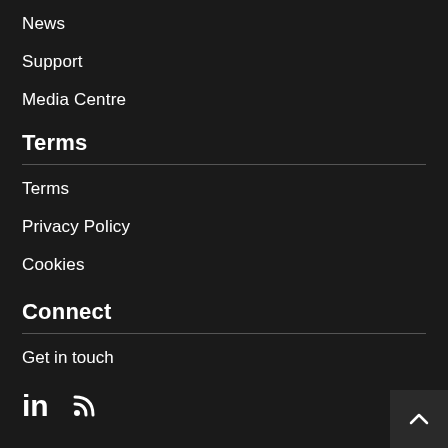News
Support
Media Centre
Terms
Terms
Privacy Policy
Cookies
Connect
Get in touch
[Figure (illustration): LinkedIn and RSS feed social media icons, and a back-to-top arrow button in the bottom right corner]